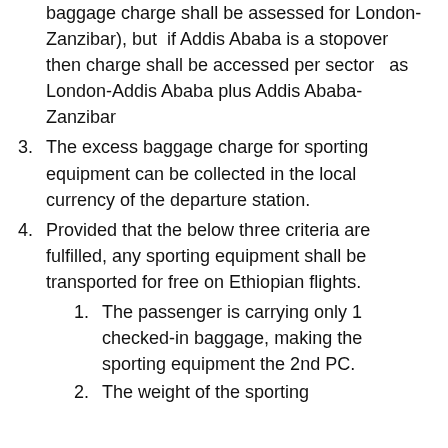baggage charge shall be assessed for London-Zanzibar), but if Addis Ababa is a stopover then charge shall be accessed per sector as London-Addis Ababa plus Addis Ababa-Zanzibar
3. The excess baggage charge for sporting equipment can be collected in the local currency of the departure station.
4. Provided that the below three criteria are fulfilled, any sporting equipment shall be transported for free on Ethiopian flights.
1. The passenger is carrying only 1 checked-in baggage, making the sporting equipment the 2nd PC.
2. The weight of the sporting